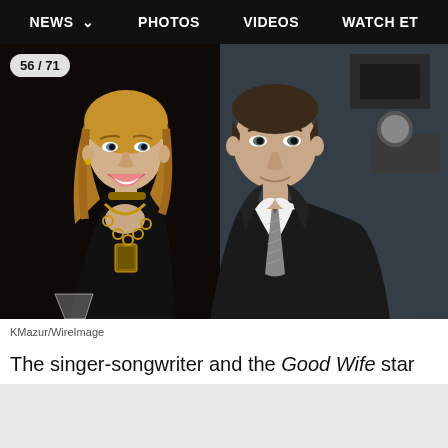NEWS  PHOTOS  VIDEOS  WATCH ET
[Figure (photo): A woman with long blonde hair wearing a black dress with a gold necklace poses next to a man in a black suit with a silver tie at an event. Photo counter shows 56/71.]
KMazur/WireImage
The singer-songwriter and the Good Wife star